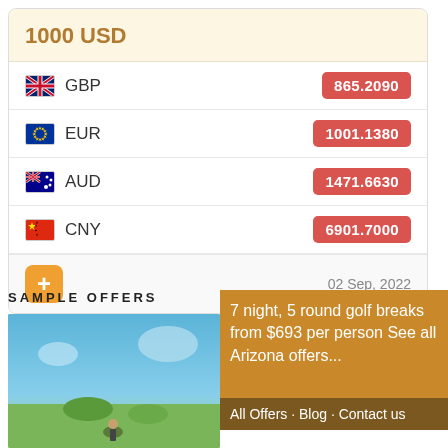1000 USD
| Currency | Rate |
| --- | --- |
| GBP | 865.2090 |
| EUR | 1001.1380 |
| AUD | 1471.6630 |
| CNY | 6901.7000 |
02 Sep, 2022
Exchange Rate USD: Fri, 2 Sep.
Sample Offers
7 night, 5 round golf breaks from $693 per person See all Arizona offers...
All Offers · Blog · Contact us
[Figure (photo): Photo of a golf course or Arizona landscape with blue sky]